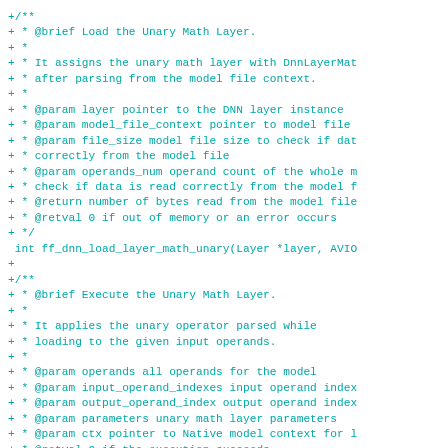+/**
+ * @brief Load the Unary Math Layer.
+ *
+ * It assigns the unary math layer with DnnLayerMat
+ * after parsing from the model file context.
+ *
+ * @param layer pointer to the DNN layer instance
+ * @param model_file_context pointer to model file
+ * @param file_size model file size to check if dat
+ * correctly from the model file
+ * @param operands_num operand count of the whole m
+ * check if data is read correctly from the model f
+ * @return number of bytes read from the model file
+ * @retval 0 if out of memory or an error occurs
+ */
 int ff_dnn_load_layer_math_unary(Layer *layer, AVIO
+
+/**
+ * @brief Execute the Unary Math Layer.
+ *
+ * It applies the unary operator parsed while
+ * loading to the given input operands.
+ *
+ * @param operands all operands for the model
+ * @param input_operand_indexes input operand index
+ * @param output_operand_index output operand index
+ * @param parameters unary math layer parameters
+ * @param ctx pointer to Native model context for l
+ * @retval 0 if the execution succeeds
+ * @retval DNN_ERROR if the execution fails
+ */